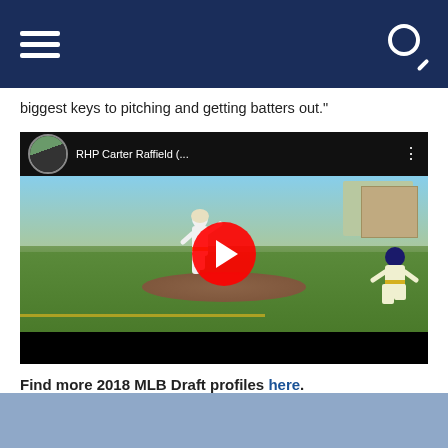Navigation header with menu and search icons
...biggest keys to pitching and getting batters out."
[Figure (screenshot): YouTube video thumbnail showing RHP Carter Raffield pitching on a baseball field, with a red play button overlay. Channel avatar visible in top-left corner with video title 'RHP Carter Raffield (...']
Find more 2018 MLB Draft profiles here.